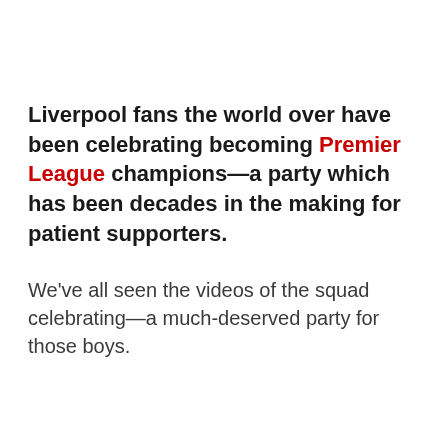Liverpool fans the world over have been celebrating becoming Premier League champions—a party which has been decades in the making for patient supporters.
We've all seen the videos of the squad celebrating—a much-deserved party for those boys.